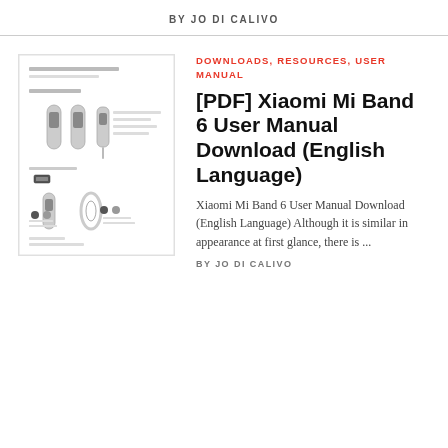BY JO DI CALIVO
[Figure (photo): Thumbnail image of Xiaomi Mi Band 6 User Manual PDF document cover page showing band illustrations]
DOWNLOADS, RESOURCES, USER MANUAL
[PDF] Xiaomi Mi Band 6 User Manual Download (English Language)
Xiaomi Mi Band 6 User Manual Download (English Language) Although it is similar in appearance at first glance, there is ...
BY JO DI CALIVO